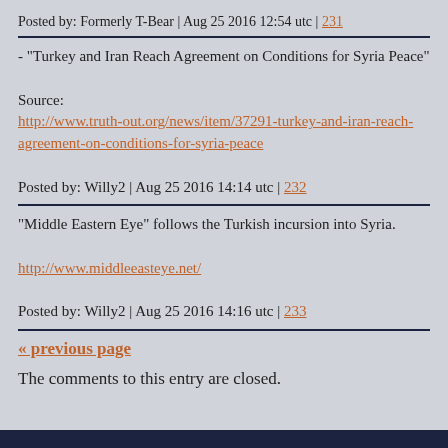Posted by: Formerly T-Bear | Aug 25 2016 12:54 utc | 231
- "Turkey and Iran Reach Agreement on Conditions for Syria Peace"

Source:
http://www.truth-out.org/news/item/37291-turkey-and-iran-reach-agreement-on-conditions-for-syria-peace

Posted by: Willy2 | Aug 25 2016 14:14 utc | 232
"Middle Eastern Eye" follows the Turkish incursion into Syria.

http://www.middleeasteye.net/

Posted by: Willy2 | Aug 25 2016 14:16 utc | 233
« previous page
The comments to this entry are closed.